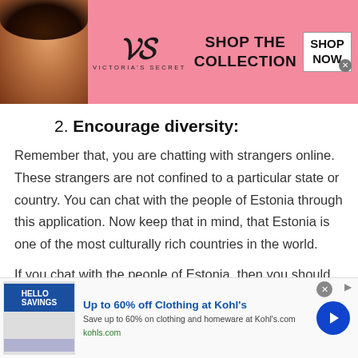[Figure (photo): Victoria's Secret advertisement banner with a woman model on the left, VS logo in center, 'SHOP THE COLLECTION' text, and 'SHOP NOW' button]
2. Encourage diversity:
Remember that, you are chatting with strangers online. These strangers are not confined to a particular state or country. You can chat with the people of Estonia through this application. Now keep that in mind, that Estonia is one of the most culturally rich countries in the world.
If you chat with the people of Estonia, then you should stay open to accept the diversity and cultural
[Figure (screenshot): Kohl's advertisement: Up to 60% off Clothing at Kohl's — Save up to 60% on clothing and homeware at Kohls.com]